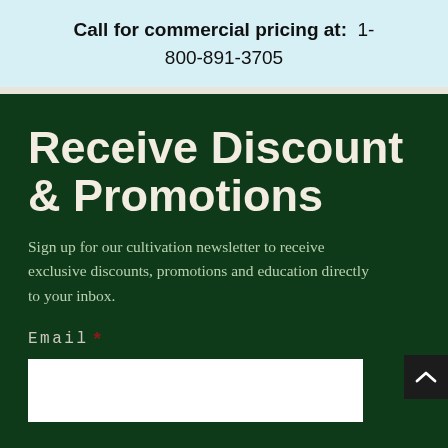Call for commercial pricing at:  1-800-891-3705
Receive Discount & Promotions
Sign up for our cultivation newsletter to receive exclusive discounts, promotions and education directly to your inbox.
Email *